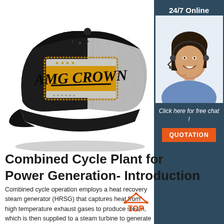[Figure (photo): A black and grey trucker-style baseball cap with an embroidered patch that reads 'AMG CROWN' in gold and black lettering on a yellow background]
[Figure (infographic): Side panel showing a woman wearing a headset (customer service agent) with '24/7 Online' text at top, 'Click here for free chat!' text below, and an orange 'QUOTATION' button]
Combined Cycle Plant for Power Generation- Introduction
Combined cycle operation employs a heat recovery steam generator (HRSG) that captures heat from high temperature exhaust gases to produce steam, which is then supplied to a steam turbine to generate additional electric power. ... It is also called a boiler, as it creates steam for the steam turbine by